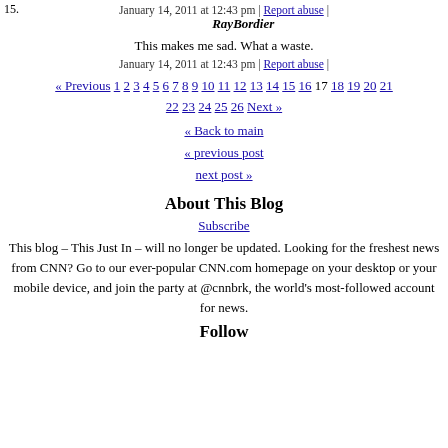January 14, 2011 at 12:43 pm | Report abuse |
15.   RayBordier
This makes me sad. What a waste.
January 14, 2011 at 12:43 pm | Report abuse |
« Previous 1 2 3 4 5 6 7 8 9 10 11 12 13 14 15 16 17 18 19 20 21 22 23 24 25 26 Next »
« Back to main
« previous post
next post »
About This Blog
Subscribe
This blog – This Just In – will no longer be updated. Looking for the freshest news from CNN? Go to our ever-popular CNN.com homepage on your desktop or your mobile device, and join the party at @cnnbrk, the world's most-followed account for news.
Follow